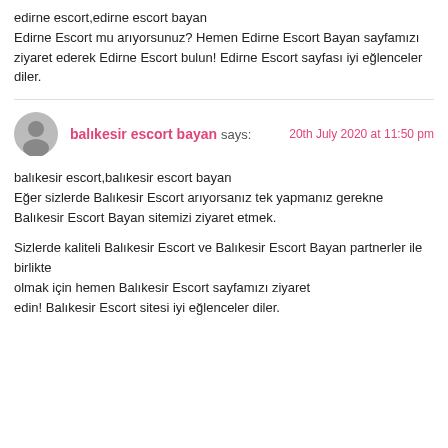edirne escort,edirne escort bayan
Edirne Escort mu arıyorsunuz? Hemen Edirne Escort Bayan sayfamızı ziyaret ederek Edirne Escort bulun! Edirne Escort sayfası iyi eğlenceler diler.
balıkesir escort bayan says:
20th July 2020 at 11:50 pm
balıkesir escort,balıkesir escort bayan
Eğer sizlerde Balıkesir Escort arıyorsanız tek yapmanız gerekne Balıkesir Escort Bayan sitemizi ziyaret etmek.

Sizlerde kaliteli Balıkesir Escort ve Balıkesir Escort Bayan partnerler ile birlikte olmak için hemen Balıkesir Escort sayfamızı ziyaret edin! Balıkesir Escort sitesi iyi eğlenceler diler.